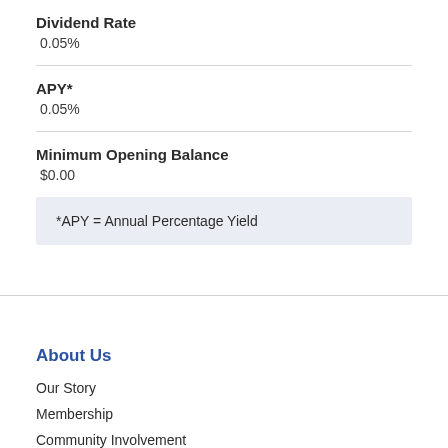Dividend Rate
0.05%
APY*
0.05%
Minimum Opening Balance
$0.00
*APY = Annual Percentage Yield
About Us
Our Story
Membership
Community Involvement